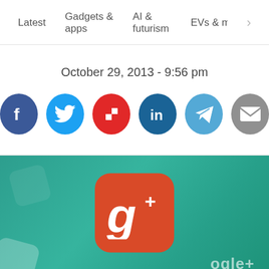Latest   Gadgets & apps   AI & futurism   EVs & mobil >
October 29, 2013 - 9:56 pm
[Figure (infographic): Social sharing icons: Facebook, Twitter, Flipboard, LinkedIn, Telegram, Email]
[Figure (photo): Close-up photo of Google+ app icon on a green background, with 'ogle+' text visible]